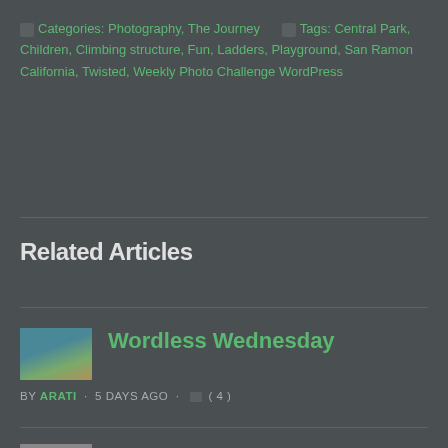Categories: Photography, The Journey   Tags: Central Park, Children, Climbing structure, Fun, Ladders, Playground, San Ramon California, Twisted, Weekly Photo Challenge WordPress
Related Articles
Wordless Wednesday by ARATI · 5 DAYS AGO · (4)
Monochrome Mondays: Ebb and flow by ARATI · 7 DAYS AGO